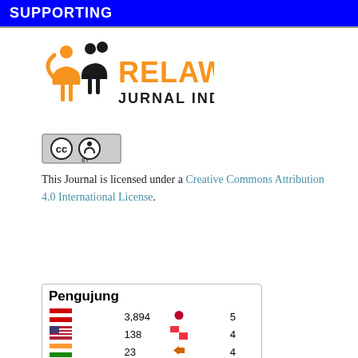SUPPORTING
[Figure (logo): Relawan Jurnal Indonesia logo with orange and black figures and text]
[Figure (logo): Creative Commons Attribution (CC BY) license badge]
This Journal is licensed under a Creative Commons Attribution 4.0 International License.
| Indonesia flag | 3,894 | Japan flag | 5 |
| USA flag | 138 | Singapore flag | 4 |
| India flag | 23 | Canada flag | 4 |
| Ireland flag | 9 | Malaysia flag | 4 |
| Russia flag | 9 | flag | 4 |